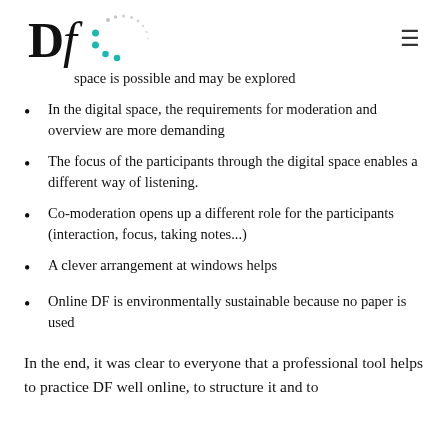DF logo and navigation menu
space is possible and may be explored
In the digital space, the requirements for moderation and overview are more demanding
The focus of the participants through the digital space enables a different way of listening.
Co-moderation opens up a different role for the participants (interaction, focus, taking notes...)
A clever arrangement at windows helps
Online DF is environmentally sustainable because no paper is used
In the end, it was clear to everyone that a professional tool helps to practice DF well online, to structure it and to